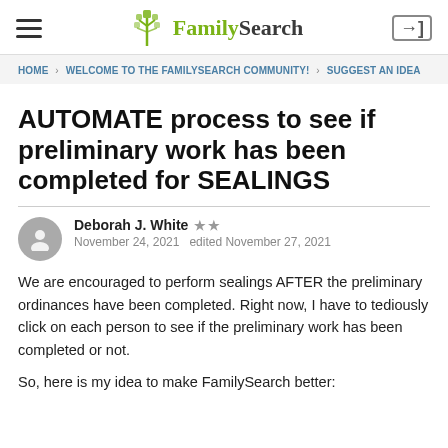FamilySearch
HOME › WELCOME TO THE FAMILYSEARCH COMMUNITY! › SUGGEST AN IDEA
AUTOMATE process to see if preliminary work has been completed for SEALINGS
Deborah J. White ★★ November 24, 2021 edited November 27, 2021
We are encouraged to perform sealings AFTER the preliminary ordinances have been completed. Right now, I have to tediously click on each person to see if the preliminary work has been completed or not.
So, here is my idea to make FamilySearch better: